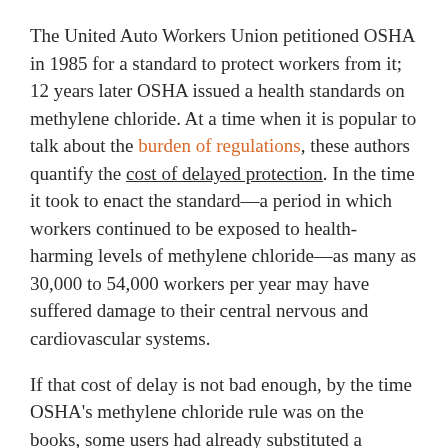The United Auto Workers Union petitioned OSHA in 1985 for a standard to protect workers from it; 12 years later OSHA issued a health standards on methylene chloride. At a time when it is popular to talk about the burden of regulations, these authors quantify the cost of delayed protection. In the time it took to enact the standard—a period in which workers continued to be exposed to health-harming levels of methylene chloride—as many as 30,000 to 54,000 workers per year may have suffered damage to their central nervous and cardiovascular systems.
If that cost of delay is not bad enough, by the time OSHA's methylene chloride rule was on the books, some users had already substituted a different compound: 1-bromopropane. The authors note:
it "…became a favored replacement solvent in some applications because it worked well, it was a quick,